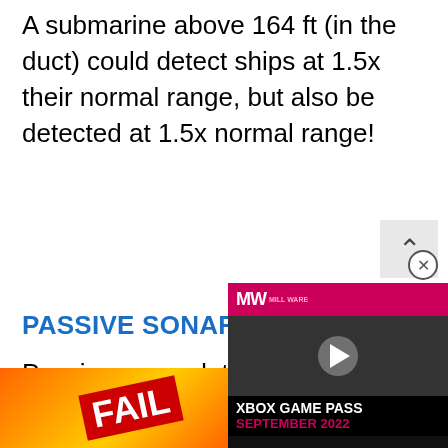A submarine above 164 ft (in the duct) could detect ships at 1.5x their normal range, but also be detected at 1.5x normal range!
PASSIVE SONAR
Passive sonar detection of a sea unit is determined by:
– Co[ntinued text obscured] dete[rmined by...]
[Figure (screenshot): Two advertisement overlays: a FAIL-themed animated graphic on the left, and an Xbox Game Pass September 2022 video ad on the right with MW logo]